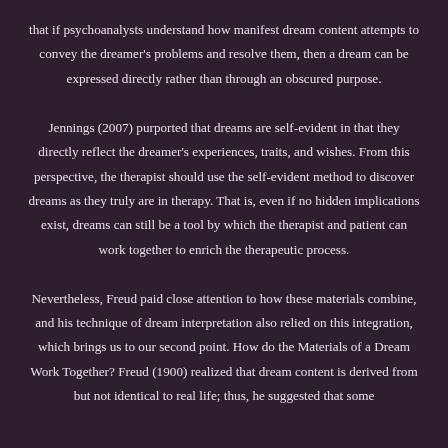that if psychoanalysts understand how manifest dream content attempts to convey the dreamer's problems and resolve them, then a dream can be expressed directly rather than through an obscured purpose. Jennings (2007) purported that dreams are self-evident in that they directly reflect the dreamer's experiences, traits, and wishes. From this perspective, the therapist should use the self-evident method to discover dreams as they truly are in therapy. That is, even if no hidden implications exist, dreams can still be a tool by which the therapist and patient can work together to enrich the therapeutic process. Nevertheless, Freud paid close attention to how these materials combine, and his technique of dream interpretation also relied on this integration, which brings us to our second point. How do the Materials of a Dream Work Together? Freud (1900) realized that dream content is derived from but not identical to real life; thus, he suggested that some